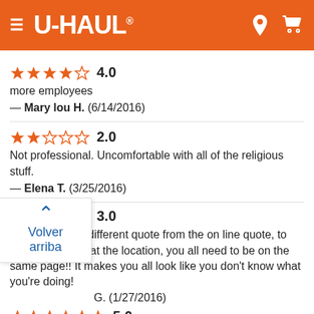[Figure (screenshot): U-Haul mobile app header with orange background, hamburger menu icon, U-Haul logo, location pin icon, and cart icon]
★★★★☆ 4.0
more employees
— Mary lou H. (6/14/2016)
★★☆☆☆ 2.0
Not professional. Uncomfortable with all of the religious stuff.
— Elena T. (3/25/2016)
★★★☆☆ 3.0
When there's a different quote from the on line quote, to the one you get at the location, you all need to be on the same page!! It makes you all look like you don't know what you're doing!
— G. (1/27/2016)
Volver arriba
★★★★★ 5.0